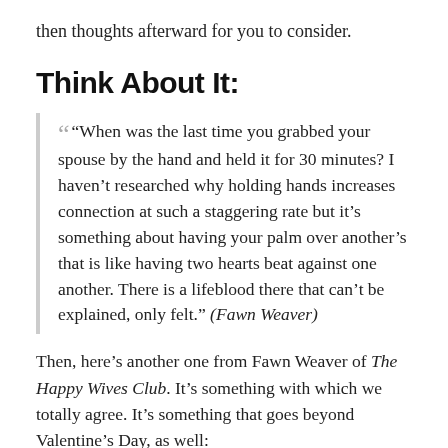then thoughts afterward for you to consider.
Think About It:
“When was the last time you grabbed your spouse by the hand and held it for 30 minutes? I haven’t researched why holding hands increases connection at such a staggering rate but it’s something about having your palm over another’s that is like having two hearts beat against one another. There is a lifeblood there that can’t be explained, only felt.” (Fawn Weaver)
Then, here’s another one from Fawn Weaver of The Happy Wives Club. It’s something with which we totally agree. It’s something that goes beyond Valentine’s Day, as well: